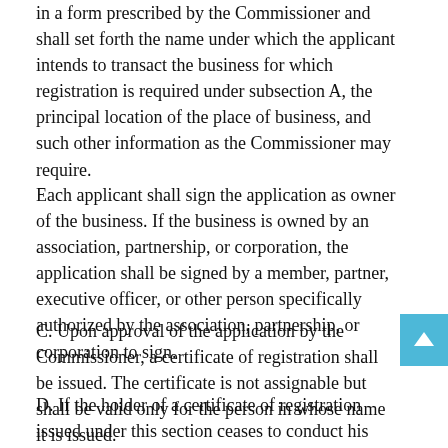in a form prescribed by the Commissioner and shall set forth the name under which the applicant intends to transact the business for which registration is required under subsection A, the principal location of the place of business, and such other information as the Commissioner may require.
Each applicant shall sign the application as owner of the business. If the business is owned by an association, partnership, or corporation, the application shall be signed by a member, partner, executive officer, or other person specifically authorized by the association, partnership, or corporation to sign.
C. Upon approval of the application by the Commissioner, a certificate of registration shall be issued. The certificate is not assignable but shall be valid only for the person in whose name it is issued.
D. If the holder of a certificate of registration issued under this section ceases to conduct his business in the Commissioner that the principal place of business...